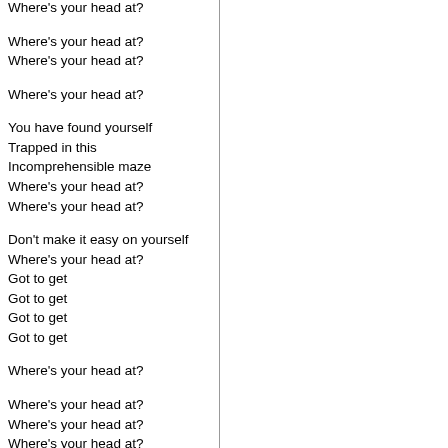Where's your head at?
Where's your head at?
Where's your head at?
Where's your head at?
You have found yourself
Trapped in this
Incomprehensible maze
Where's your head at?
Where's your head at?
Don't make it easy on yourself
Where's your head at?
Got to get
Got to get
Got to get
Got to get
Where's your head at?
Where's your head at?
Where's your head at?
Where's your head at?
Where's your head at?
Where's your head at?